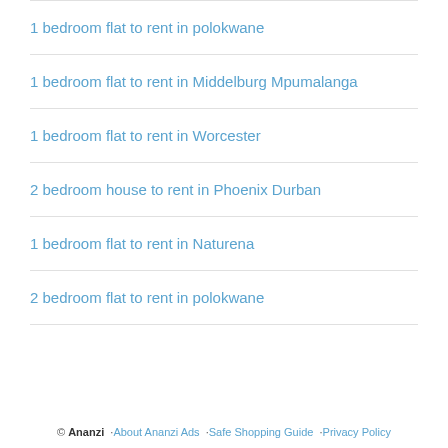1 bedroom flat to rent in polokwane
1 bedroom flat to rent in Middelburg Mpumalanga
1 bedroom flat to rent in Worcester
2 bedroom house to rent in Phoenix Durban
1 bedroom flat to rent in Naturena
2 bedroom flat to rent in polokwane
© Ananzi  ·About Ananzi Ads  ·Safe Shopping Guide  ·Privacy Policy